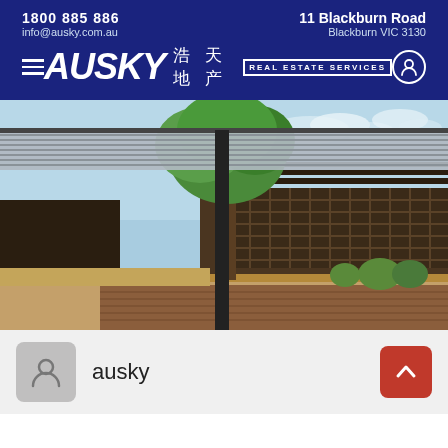1800 885 886 | info@ausky.com.au | 11 Blackburn Road | Blackburn VIC 3130
[Figure (logo): Ausky Real Estate Services logo with Chinese characters 浩天地产, hamburger menu icon and user icon, on dark blue background]
[Figure (photo): Outdoor courtyard of a property showing a pergola/carport with corrugated roof, a large tree, dark timber lattice fence, raised garden beds with plants, and wooden decking area]
ausky